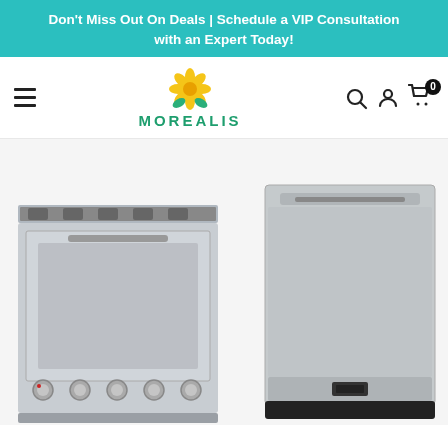Don't Miss Out On Deals | Schedule a VIP Consultation with an Expert Today!
[Figure (logo): Morealis logo with yellow flower and teal/green brand name text]
[Figure (photo): Two stainless steel kitchen appliances: a gas range/cooktop on the left and a built-in dishwasher on the right]